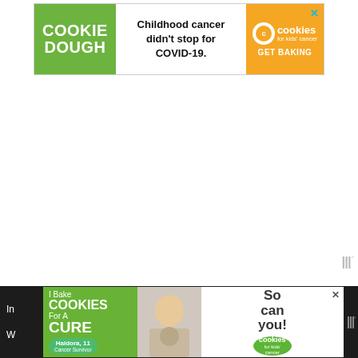[Figure (screenshot): Advertisement banner for Cookies for Kids' Cancer. Left green section reads 'COOKIE DOUGH' in white bold text. Center white section reads 'Childhood cancer didn't stop for COVID-19.' Right orange section has cookies logo and 'GET BAKING'. Close X button top right.]
[Figure (screenshot): Bottom advertisement banner for Cookies for Kids' Cancer. Left green section reads 'I Bake COOKIES For A CURE' with Haldora, 11, Cancer Survivor badge. Center shows photo of child with cookies. Right side reads 'So can you!' with green cookies circle logo. Close X button.]
In
W